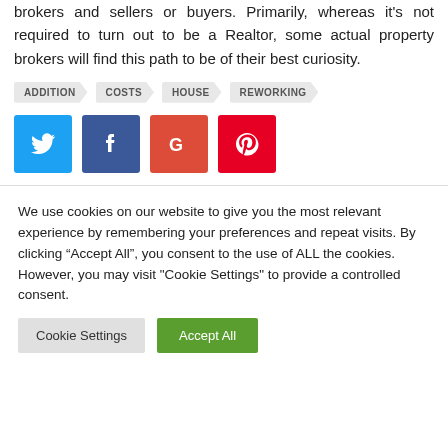brokers and sellers or buyers. Primarily, whereas it's not required to turn out to be a Realtor, some actual property brokers will find this path to be of their best curiosity.
ADDITION
COSTS
HOUSE
REWORKING
[Figure (infographic): Social sharing buttons: Twitter (blue), Facebook (dark blue), Google (red/orange), Pinterest (red)]
We use cookies on our website to give you the most relevant experience by remembering your preferences and repeat visits. By clicking “Accept All”, you consent to the use of ALL the cookies. However, you may visit "Cookie Settings" to provide a controlled consent.